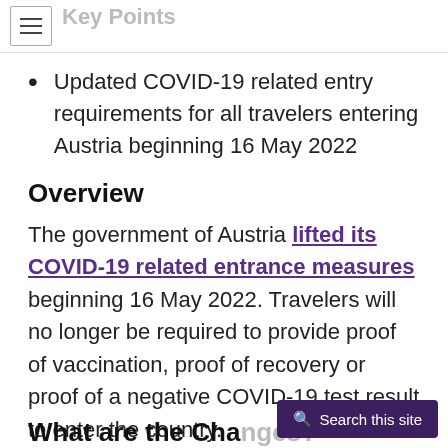Key Points
Updated COVID-19 related entry requirements for all travelers entering Austria beginning 16 May 2022
Overview
The government of Austria lifted its COVID-19 related entrance measures beginning 16 May 2022. Travelers will no longer be required to provide proof of vaccination, proof of recovery or proof of a negative COVID-19 test result to enter the country.
What are the Changes?